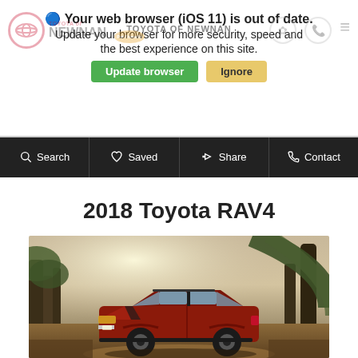Your web browser (iOS 11) is out of date. Update your browser for more security, speed and the best experience on this site.
[Figure (screenshot): Toyota of Newnan dealer navigation bar with logo, pet friendly badge, search icon, and hamburger menu]
Update browser | Ignore
Search | Saved | Share | Contact navigation bar
2018 Toyota RAV4
[Figure (photo): 2018 Toyota RAV4 in red/maroon color parked on a dirt trail in a forest with bright sunlight filtering through trees]